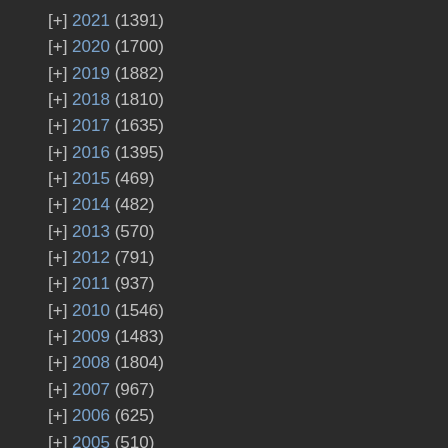[+] 2021 (1391)
[+] 2020 (1700)
[+] 2019 (1882)
[+] 2018 (1810)
[+] 2017 (1635)
[+] 2016 (1395)
[+] 2015 (469)
[+] 2014 (482)
[+] 2013 (570)
[+] 2012 (791)
[+] 2011 (937)
[+] 2010 (1546)
[+] 2009 (1483)
[+] 2008 (1804)
[+] 2007 (967)
[+] 2006 (625)
[+] 2005 (510)
[+] 2004 (461)